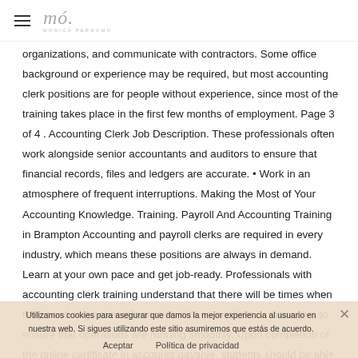≡ mó. MÓNICA PERDOMO
organizations, and communicate with contractors. Some office background or experience may be required, but most accounting clerk positions are for people without experience, since most of the training takes place in the first few months of employment. Page 3 of 4 . Accounting Clerk Job Description. These professionals often work alongside senior accountants and auditors to ensure that financial records, files and ledgers are accurate. • Work in an atmosphere of frequent interruptions. Making the Most of Your Accounting Knowledge. Training. Payroll And Accounting Training in Brampton Accounting and payroll clerks are required in every industry, which means these positions are always in demand. Learn at your own pace and get job-ready. Professionals with accounting clerk training understand that there will be times when they need to go over information with co-workers or managers to ensure that operations are running smoothly. Upon completion of the online certificate in accounts payable, students should be able to find careers as office administrators, bookkeeping, or accounting clerks. Llamo Accounting
Utilizamos cookies para asegurar que damos la mejor experiencia al usuario en nuestra web. Si sigues utilizando este sitio asumiremos que estás de acuerdo.
Aceptar    Política de privacidad